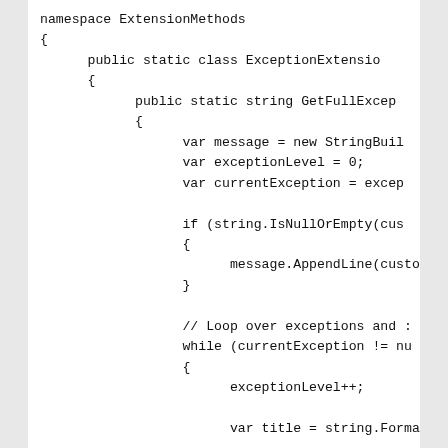[Figure (screenshot): C# source code snippet showing a namespace ExtensionMethods with a public static class ExceptionExtension containing a public static string GetFullException method. The method declares variables message (new StringBuilder), exceptionLevel = 0, currentException = exception. It has an if block checking string.IsNullOrEmpty(cust) with message.AppendLine(custom). Then a comment '// Loop over exceptions and :' followed by a while loop (currentException != nu) with exceptionLevel++, var title = string.Format, and message.AppendLine (partially visible).]